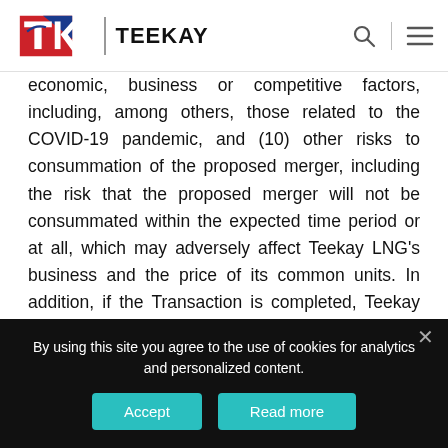[Figure (logo): Teekay logo with TK monogram in red/blue and wordmark TEEKAY, plus search and menu icons in header]
economic, business or competitive factors, including, among others, those related to the COVID-19 pandemic, and (10) other risks to consummation of the proposed merger, including the risk that the proposed merger will not be consummated within the expected time period or at all, which may adversely affect Teekay LNG's business and the price of its common units. In addition, if the Transaction is completed, Teekay LNG may not realize expected benefits for its customers, employees, joint venture partners or capital providers and Teekay may not
By using this site you agree to the use of cookies for analytics and personalized content.